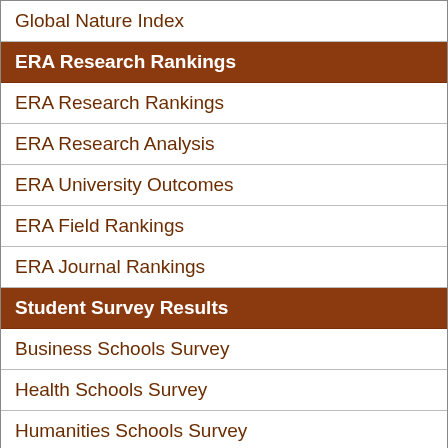Global Nature Index
ERA Research Rankings
ERA Research Rankings
ERA Research Analysis
ERA University Outcomes
ERA Field Rankings
ERA Journal Rankings
Student Survey Results
Business Schools Survey
Health Schools Survey
Humanities Schools Survey
Science Schools Survey
ATAR Entry Scores
Student Numbers
Total Student Numbers
International Student Numbers
Online Student Numbers